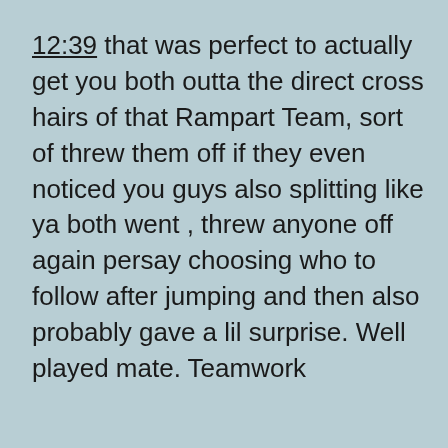12:39 that was perfect to actually get you both outta the direct cross hairs of that Rampart Team, sort of threw them off if they even noticed you guys also splitting like ya both went , threw anyone off again persay choosing who to follow after jumping and then also probably gave a lil surprise. Well played mate. Teamwork
Reply
Chris Bell
July 28, 2021 at 8:18 am